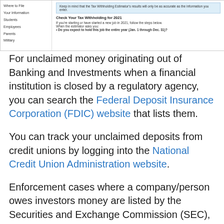[Figure (screenshot): Screenshot of a government website showing navigation sidebar with links: Where to File, Your Information, Students, Employees, Parents, Military; and content area with a blue info box and section titled 'Check Your Tax Withholding for 2021' with instructions.]
For unclaimed money originating out of Banking and Investments when a financial institution is closed by a regulatory agency, you can search the Federal Deposit Insurance Corporation (FDIC) website that lists them.
You can track your unclaimed deposits from credit unions by logging into the National Credit Union Administration website.
Enforcement cases where a company/person owes investors money are listed by the Securities and Exchange Commission (SEC), and you can find them from the US SEC website.
You can also track your unclaimed deposits and...